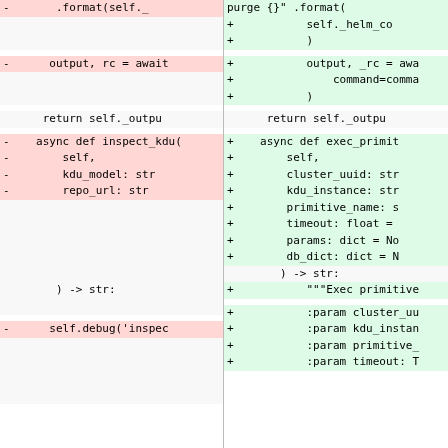[Figure (screenshot): A side-by-side diff view showing Python code changes. Left side shows removed lines (red background, prefixed with -) and right side shows added lines (green background, prefixed with +). The diff includes changes to .format() calls, output/rc assignments, return statements, function signatures (inspect_kdu vs exec_primitive), parameters, and self.debug call.]